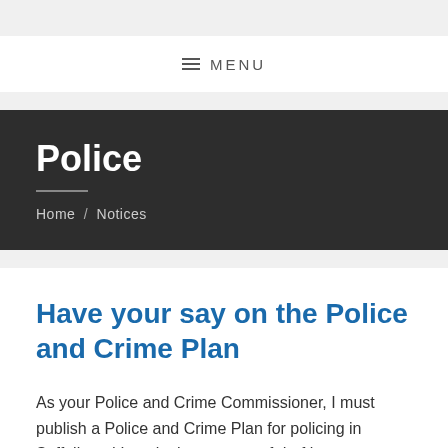≡ MENU
Police
Home / Notices
Have your say on the Police and Crime Plan
As your Police and Crime Commissioner, I must publish a Police and Crime Plan for policing in Suffolk and I am in the process of drafting a new plan, which